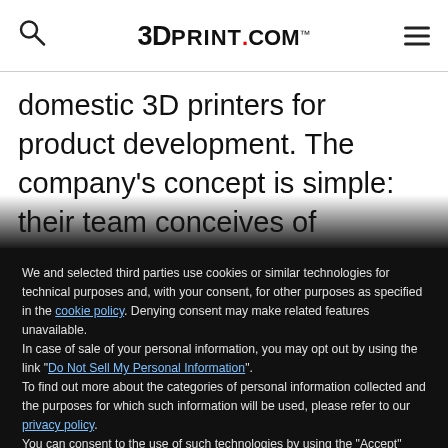3DPrint.com
domestic 3D printers for product development. The company's concept is simple: their team conceives of
We and selected third parties use cookies or similar technologies for technical purposes and, with your consent, for other purposes as specified in the cookie policy. Denying consent may make related features unavailable.
In case of sale of your personal information, you may opt out by using the link "Do Not Sell My Personal Information".
To find out more about the categories of personal information collected and the purposes for which such information will be used, please refer to our privacy policy.
You can consent to the use of such technologies by using the "Accept" button, by scrolling this page, by interacting with any link or button outside of this notice or by continuing to browse otherwise.
Reject
Accept
Learn more and customize